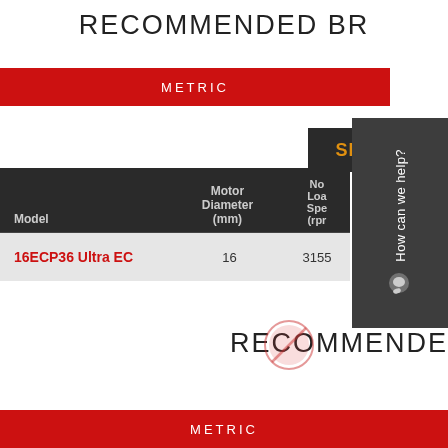RECOMMENDED BR
METRIC
| Model | Motor Diameter (mm) | No Load Speed (rpm) |
| --- | --- | --- |
| 16ECP36 Ultra EC | 16 | 3155 |
RECOMMENDE
METRIC